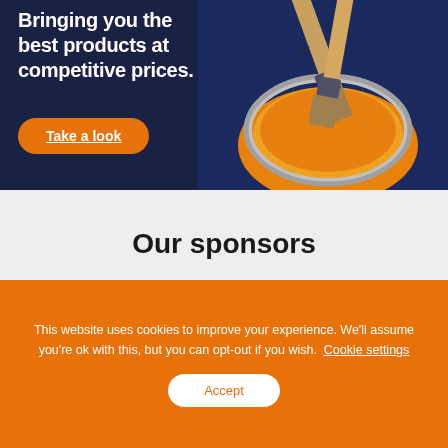Bringing you the best products at competitive prices.
Take a look
[Figure (photo): Paint brushes resting on an open can of orange/yellow paint against a dark blue background]
Our sponsors
[Figure (other): Three white sponsor card placeholders]
This website uses cookies to improve your experience. We'll assume you're ok with this, but you can opt-out if you wish. Cookie settings
Accept